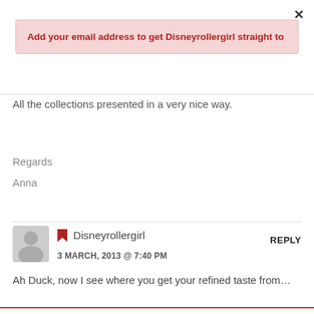×
Add your email address to get Disneyrollergirl straight to
All the collections presented in a very nice way.
Regards
Anna
Disneyrollergirl
REPLY
3 MARCH, 2013 @ 7:40 PM
Ah Duck, now I see where you get your refined taste from…